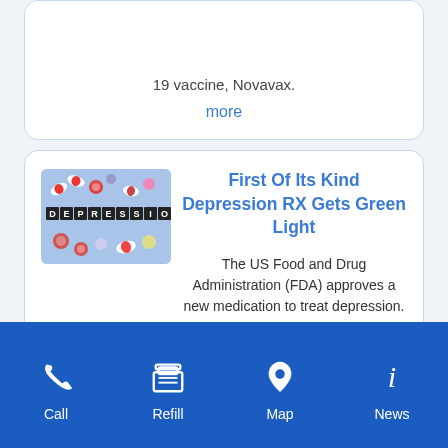19 vaccine, Novavax.
more
[Figure (photo): Scrabble tiles spelling DEPRESSION surrounded by colorful pills and capsules on a blue background]
First Of Its Kind Depression RX Gets Green Light
The US Food and Drug Administration (FDA) approves a new medication to treat depression. more
Call | Refill | Map | News